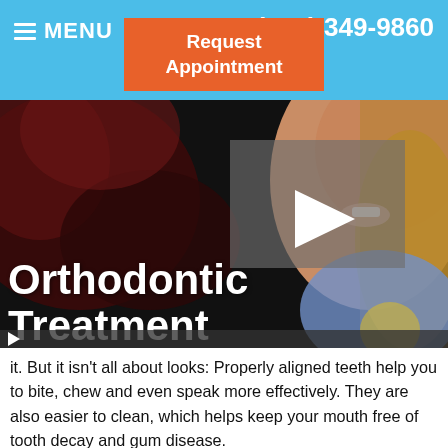MENU   ☎ (517) 349-9860   Request Appointment
[Figure (screenshot): Video thumbnail showing a smiling woman with long blonde hair, with a play button overlay and text 'Orthodontic Treatment' overlaid on the video. Duration shown as 3:21.]
it. But it isn't all about looks: Properly aligned teeth help you to bite, chew and even speak more effectively. They are also easier to clean, which helps keep your mouth free of tooth decay and gum disease.